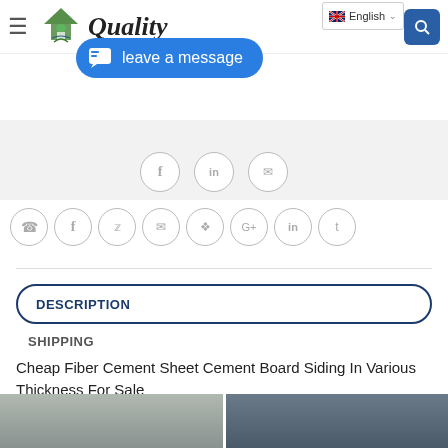[Figure (screenshot): Website header with hamburger menu, green house logo, 'Quality' text, and blue search button]
[Figure (screenshot): English language selector dropdown in top right]
[Figure (screenshot): Blue chat bubble with 'leave a message' text and chat icon]
[Figure (screenshot): Three partially visible social media icon circles in gray bar]
[Figure (screenshot): Row of eight social media icon circles: phone, facebook, twitter, email, pinterest, google+, linkedin, tumblr]
DESCRIPTION
SHIPPING
Cheap Fiber Cement Sheet Cement Board Siding In Various Thickness For Sale
[Figure (photo): Two partial photos of fiber cement board/siding products at bottom of page]